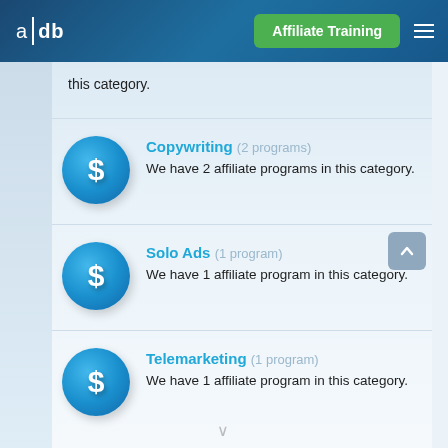a|db  Affiliate Training
this category.
Copywriting (2 programs) — We have 2 affiliate programs in this category.
Solo Ads (1 program) — We have 1 affiliate program in this category.
Telemarketing (1 program) — We have 1 affiliate program in this category.